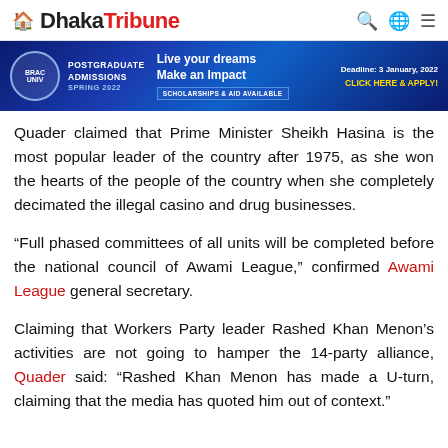Dhaka Tribune
[Figure (infographic): Advertisement banner for BRAC University Postgraduate Admissions Spring 2022. Blue gradient background with logo, text 'POSTGRADUATE ADMISSIONS SPRING 2022', tagline 'Live your dreams Make an Impact', 'SCHOLARSHIPS & AID AVAILABLE', 'Deadline: 3 January, 2022', 'CLICK HERE & APPLY!']
Quader claimed that Prime Minister Sheikh Hasina is the most popular leader of the country after 1975, as she won the hearts of the people of the country when she completely decimated the illegal casino and drug businesses.
“Full phased committees of all units will be completed before the national council of Awami League,” confirmed Awami League general secretary.
Claiming that Workers Party leader Rashed Khan Menon’s activities are not going to hamper the 14-party alliance, Quader said: “Rashed Khan Menon has made a U-turn, claiming that the media has quoted him out of context.”